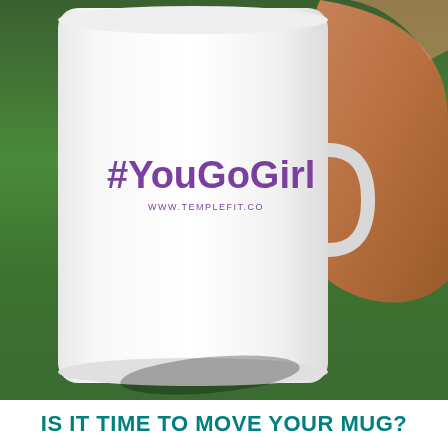[Figure (photo): A white cylindrical mug held by a hand with brown skin, resting against a green grass background. The mug displays '#YouGoGirl' in purple bold text and 'WWW.TEMPLEFIT.CO' in smaller purple text below it.]
IS IT TIME TO MOVE YOUR MUG?